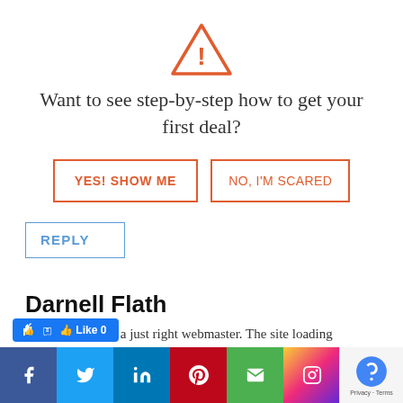[Figure (illustration): Warning triangle icon with exclamation mark in orange/red outline style]
Want to see step-by-step how to get your first deal?
YES! SHOW ME | NO, I'M SCARED (call-to-action buttons)
REPLY
Darnell Flath
you are in reality a just right webmaster. The site loading velocity is incredible. It kind of feels that you're doing any ... have done a fantastic task in this subject!
[Figure (infographic): Social sharing bar with Facebook, Twitter, LinkedIn, Pinterest, Email, Instagram icons and reCAPTCHA badge; Like 0 button]